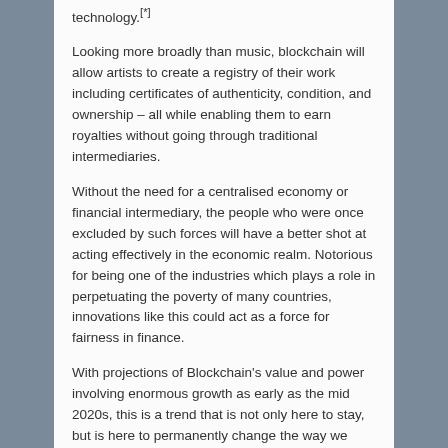technology.[*]
Looking more broadly than music, blockchain will allow artists to create a registry of their work including certificates of authenticity, condition, and ownership – all while enabling them to earn royalties without going through traditional intermediaries.
Without the need for a centralised economy or financial intermediary, the people who were once excluded by such forces will have a better shot at acting effectively in the economic realm. Notorious for being one of the industries which plays a role in perpetuating the poverty of many countries, innovations like this could act as a force for fairness in finance.
With projections of Blockchain's value and power involving enormous growth as early as the mid 2020s, this is a trend that is not only here to stay, but is here to permanently change the way we